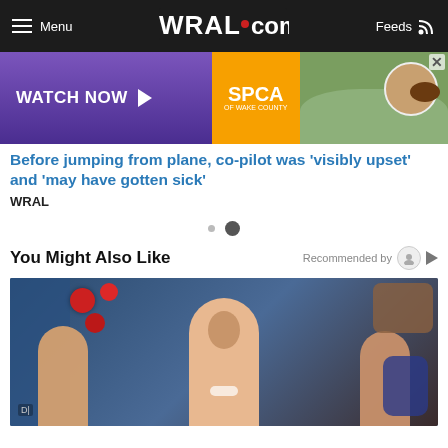WRAL.com — Menu | Feeds
[Figure (screenshot): WRAL.com advertisement banner: Watch Now button and SPCA of Wake County ad with dog photo]
Before jumping from plane, co-pilot was 'visibly upset' and 'may have gotten sick'
WRAL
You Might Also Like   Recommended by
[Figure (photo): Photo of a man with two young girls, smiling, with holiday decorations in background]